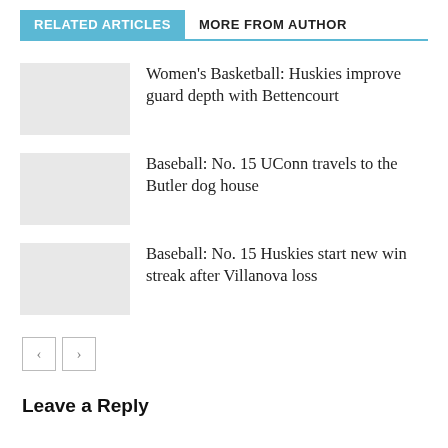RELATED ARTICLES  MORE FROM AUTHOR
Women's Basketball: Huskies improve guard depth with Bettencourt
Baseball: No. 15 UConn travels to the Butler dog house
Baseball: No. 15 Huskies start new win streak after Villanova loss
Leave a Reply